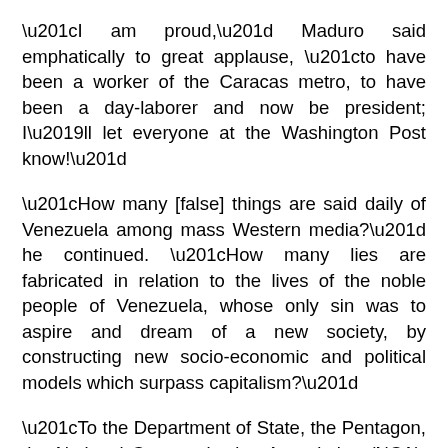“I am proud,” Maduro said emphatically to great applause, “to have been a worker of the Caracas metro, to have been a day-laborer and now be president; I’ll let everyone at the Washington Post know!”
“How many [false] things are said daily of Venezuela among mass Western media?” he continued. “How many lies are fabricated in relation to the lives of the noble people of Venezuela, whose only sin was to aspire and dream of a new society, by constructing new socio-economic and political models which surpass capitalism?”
“To the Department of State, the Pentagon, the National Communication Association (NCA), to the White House, I ask you now to rectify the erratic political abuse of Venezuela and our revolution,